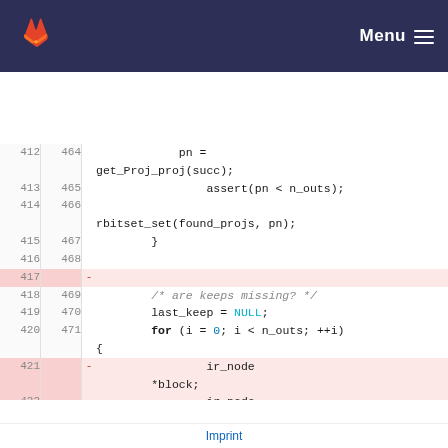Menu
[Figure (screenshot): GitLab code diff view showing lines 412-423 (old) and 464-473 (new) of a C source file with additions and deletions highlighted]
Imprint